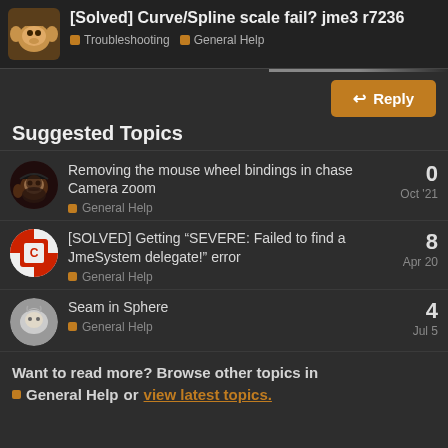[Solved] Curve/Spline scale fail? jme3 r7236 | Troubleshooting | General Help
Suggested Topics
Removing the mouse wheel bindings in chase Camera zoom | General Help | Oct '21 | 0 replies
[SOLVED] Getting “SEVERE: Failed to find a JmeSystem delegate!” error | General Help | Apr 20 | 8 replies
Seam in Sphere | General Help | Jul 5 | 4 replies
Want to read more? Browse other topics in General Help or view latest topics.